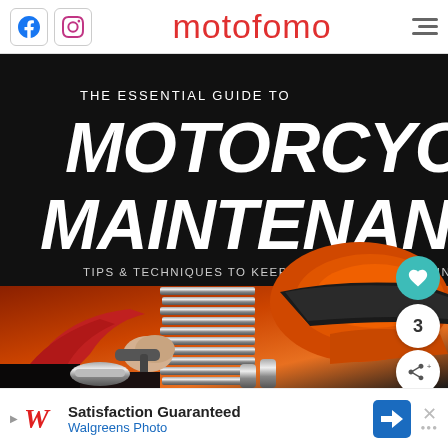motofomo
[Figure (photo): Book cover of 'The Essential Guide to Motorcycle Maintenance – Tips & Techniques to Keep Your Motorcycle in Top Condition' with a black background and large white bold italic title text, and a photo of a person working on a chrome V-twin motorcycle engine with an orange tank.]
[Figure (screenshot): Advertisement banner for Walgreens Photo with 'Satisfaction Guaranteed' text and blue navigation arrow icon]